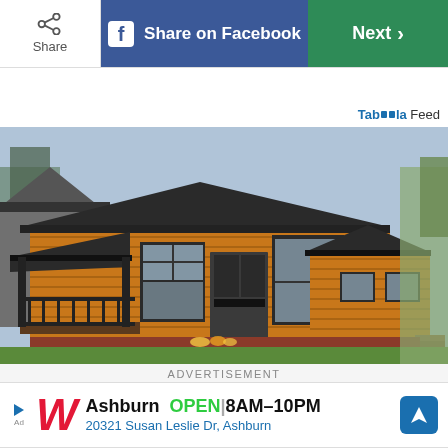[Figure (screenshot): Mobile browser toolbar with Share button, Share on Facebook button (blue), and Next button (green)]
Taboola Feed
[Figure (photo): Exterior photo of a modern log cabin / park home with wood cladding, dark framed windows, covered porch with black railings, and a smaller annexed section on the right. Surrounded by green grass and trees.]
ADVERTISEMENT
[Figure (screenshot): Walgreens advertisement: Ashburn OPEN 8AM-10PM, 20321 Susan Leslie Dr, Ashburn, with navigation icon]